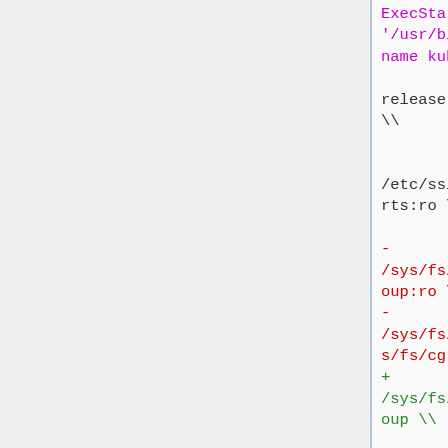ExecStart=/bin/bash -c '/usr/bin/podman run --name kube-proxy \
        --volume /usr/lib/os-release:/etc/os-release:ro \

        --volume /etc/ssl/certs:/etc/ssl/certs:ro \
        --volume /run:/run \
-       --volume /sys/fs/cgroup:/sys/fs/cgroup:ro \
-       --volume /sys/fs/cgroup/systemd:/sys/fs/cgroup/systemd \
+       --volume /sys/fs/cgroup:/sys/fs/cgroup \
        --volume /lib/modules:/lib/modules:ro \
        --volume /etc/pki/tls/certs:/usr/share/ca-certificates:ro \